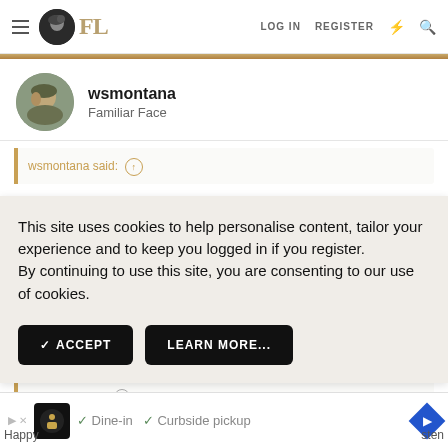FL  LOG IN  REGISTER
wsmontana
Familiar Face
wsmontana said: ↑
This site uses cookies to help personalise content, tailor your experience and to keep you logged in if you register.
By continuing to use this site, you are consenting to our use of cookies.
✓ ACCEPT    LEARN MORE...
wsmontana said ↑    Click to expand...
[Figure (other): Advertisement bar with restaurant icon, dine-in and curbside pickup checkmarks, and navigation arrow]
Happy    sten